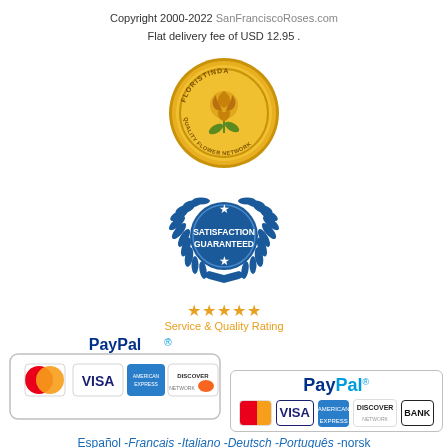Copyright 2000-2022 SanFranciscoRoses.com
Flat delivery fee of USD 12.95 .
[Figure (logo): Floristinda Quality Flower Network gold medal badge]
[Figure (logo): Satisfaction Guaranteed blue laurel wreath badge with stars]
[Figure (infographic): Five gold stars Service & Quality Rating]
[Figure (logo): PayPal payment methods badge showing MasterCard, VISA, American Express, Discover, Bank]
Español -Francais -Italiano -Deutsch -Português -norsk